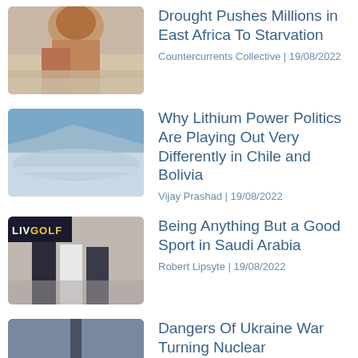[Figure (photo): Photo of people in drought-affected East Africa]
Drought Pushes Millions in East Africa To Starvation
Countercurrents Collective | 19/08/2022
[Figure (photo): Photo of lithium salt flats landscape]
Why Lithium Power Politics Are Playing Out Very Differently in Chile and Bolivia
Vijay Prashad | 19/08/2022
[Figure (photo): Photo of golfers at LIV Golf event in Saudi Arabia]
Being Anything But a Good Sport in Saudi Arabia
Robert Lipsyte | 19/08/2022
[Figure (photo): Photo of industrial chimney/nuclear facility]
Dangers Of Ukraine War Turning Nuclear
Countercurrents Collective | 18/08/2022
Paradigm for peace applied to Russia, Ukraine, and the US: Proposal for a